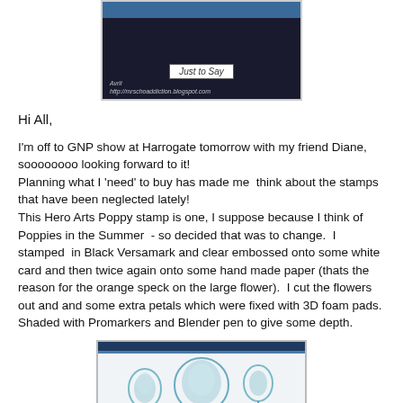[Figure (photo): A greeting card with dark background showing 'Just to Say' label, with watermark text 'Avril' and a blog URL]
Hi All,
I'm off to GNP show at Harrogate tomorrow with my friend Diane, soooooooo looking forward to it!
Planning what I 'need' to buy has made me  think about the stamps that have been neglected lately!
This Hero Arts Poppy stamp is one, I suppose because I think of Poppies in the Summer  - so decided that was to change.  I stamped  in Black Versamark and clear embossed onto some white card and then twice again onto some hand made paper (thats the reason for the orange speck on the large flower).  I cut the flowers out and and some extra petals which were fixed with 3D foam pads. Shaded with Promarkers and Blender pen to give some depth.
[Figure (photo): A card featuring embossed poppy flowers in light teal/mint color on white paper with dark blue border framing]